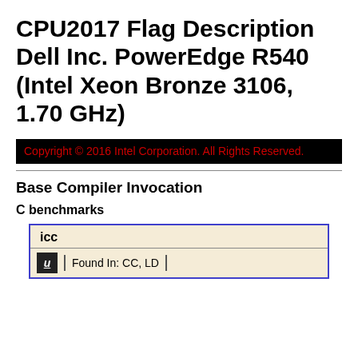CPU2017 Flag Description Dell Inc. PowerEdge R540 (Intel Xeon Bronze 3106, 1.70 GHz)
Copyright © 2016 Intel Corporation. All Rights Reserved.
Base Compiler Invocation
C benchmarks
| icc |
| --- |
| Found In: CC, LD |